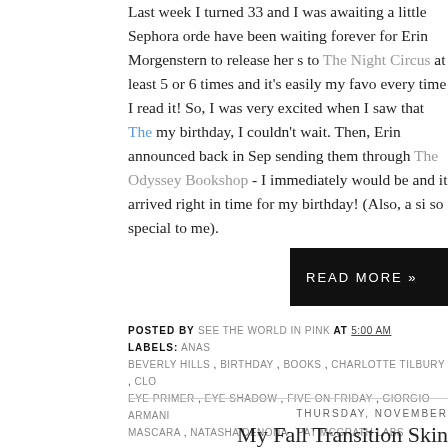Last week I turned 33 and I was awaiting a little Sephora order... have been waiting forever for Erin Morgenstern to release her s... to The Night Circus at least 5 or 6 times and it's easily my favo... every time I read it! So, I was very excited when I saw that The... my birthday, I couldn't wait. Then, Erin announced back in Sep... sending them through The Odyssey Bookshop - I immediately... would be and it arrived right in time for my birthday! (Also, a si... so special to me).
READ MORE »
POSTED BY SEE THE WORLD IN PINK AT 5:00 AM LABELS: ANAS... BEVERLY HILLS , BIRTHDAY , BOOKS , CHARLOTTE TILBURY , CLO... EYE PRIMER , EYE SHADOW , FIVE ON FRIDAY , GIORGIO ARMANI... MASCARA , NATASHA DENONA , PAT MCGRATH LABS
THURSDAY, NOVEMBER
My Fall Transition Skin
I always switch up my skincare products for each season, I m...